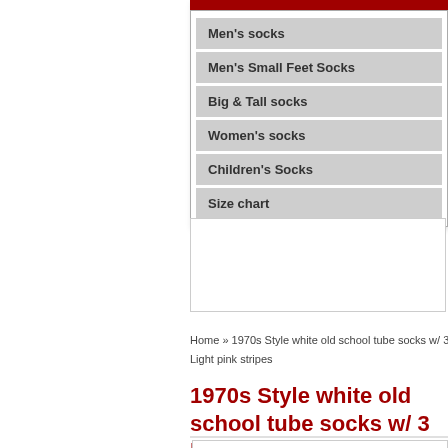Men's socks
Men's Small Feet Socks
Big & Tall socks
Women's socks
Children's Socks
Size chart
[Figure (screenshot): Empty white content box / advertisement area]
Home » 1970s Style white old school tube socks w/ 3 Light pink stripes
1970s Style white old school tube socks w/ 3 Light pink stripes
[Figure (photo): Product image area (partially visible at bottom)]